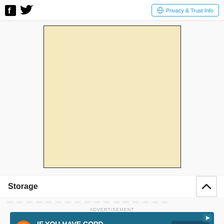Facebook | Twitter | Privacy & Trust Info
[Figure (other): Large beige/cream colored advertisement placeholder rectangle with black border]
Storage
— — — — — — — — — — — — — — — — —
ADVERTISEMENT
[Figure (other): GSK advertisement banner: IF YOU HAVE COPD, IT'S TIME. with Expand button]